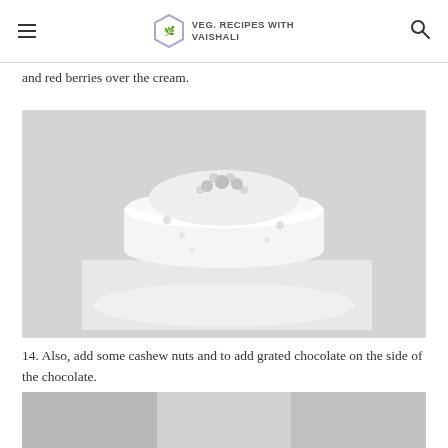VEG. RECIPES WITH VAISHALI
and red berries over the cream.
[Figure (photo): A white cream cake topped with cashew nuts and red berries, viewed from the front, placed on a white surface.]
14. Also, add some cashew nuts and to add grated chocolate on the side of the chocolate.